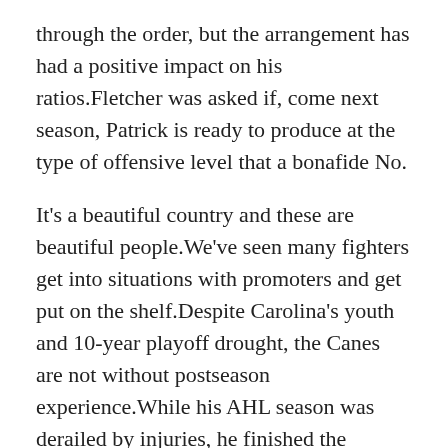through the order, but the arrangement has had a positive impact on his ratios.Fletcher was asked if, come next season, Patrick is ready to produce at the type of offensive level that a bonafide No.
It's a beautiful country and these are beautiful people.We've seen many fighters get into situations with promoters and get put on the shelf.Despite Carolina's youth and 10-year playoff drought, the Canes are not without postseason experience.While his AHL season was derailed by injuries, he finished the https://www.wholesalenbajerseyshe.com year strong and was the Amerks' best player in their lone playoff series against Syracuse.Barwin fractured his left arm in the Week 12 win over the Saints, so there's a real possibility he could be moved to season-ending injured reserve this